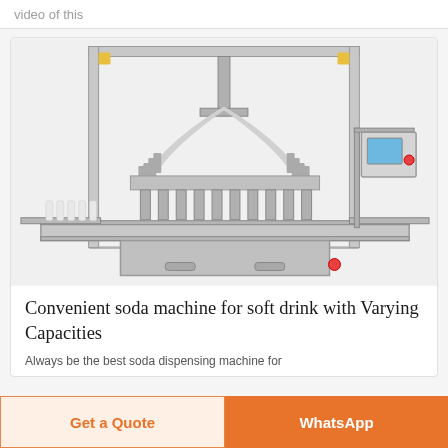video of this
[Figure (photo): Industrial soda/liquid filling machine with multiple filling nozzles, conveyor belt, stainless steel frame, and a control panel with touchscreen on the right side.]
Convenient soda machine for soft drink with Varying Capacities
Always be the best soda dispensing machine for
Get a Quote
WhatsApp